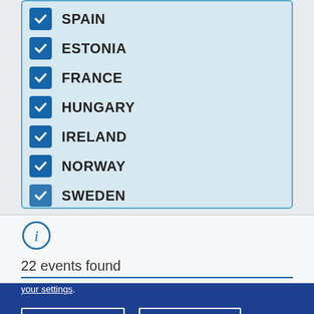SPAIN
ESTONIA
FRANCE
HUNGARY
IRELAND
NORWAY
SWEDEN
22 events found
Cookies
This site uses cookies to offer you a better browsing experience. Find out more on how we use cookies and how you can change your settings.
I accept cookies
I refuse cookies